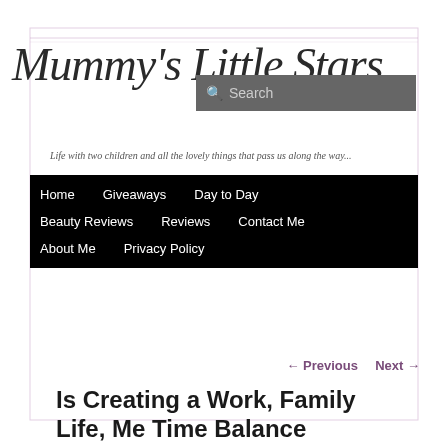[Figure (illustration): Decorative star border pattern around the page edges with pink/mauve glittery stars]
Mummy's Little Stars
Life with two children and all the lovely things that pass us along the way...
[Figure (screenshot): Search input box with magnifying glass icon and placeholder text 'Search']
Home   Giveaways   Day to Day   Beauty Reviews   Reviews   Contact Me   About Me   Privacy Policy
← Previous   Next →
Is Creating a Work, Family Life, Me Time Balance Always